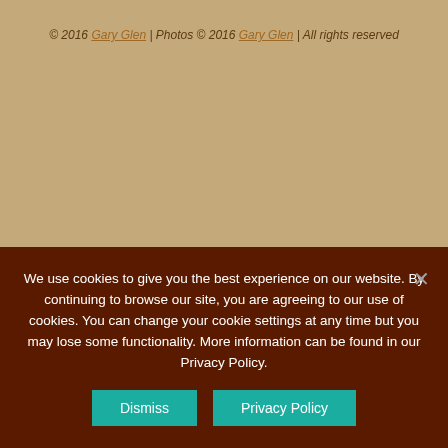© 2016 Gary Glen | Photos © 2016 Gary Glen | All rights reserved
We use cookies to give you the best experience on our website. By continuing to browse our site, you are agreeing to our use of cookies. You can change your cookie settings at any time but you may lose some functionality. More information can be found in our Privacy Policy.